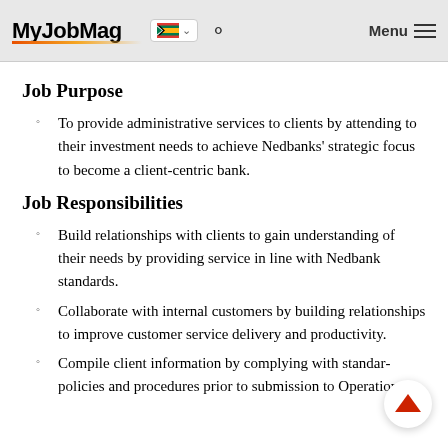MyJobMag [South Africa flag] [search] Menu
Job Purpose
To provide administrative services to clients by attending to their investment needs to achieve Nedbanks' strategic focus to become a client-centric bank.
Job Responsibilities
Build relationships with clients to gain understanding of their needs by providing service in line with Nedbank standards.
Collaborate with internal customers by building relationships to improve customer service delivery and productivity.
Compile client information by complying with standard policies and procedures prior to submission to Operations